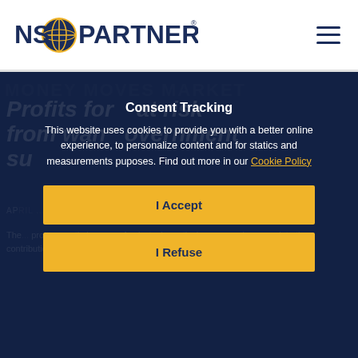[Figure (logo): NSO Partners logo with globe icon]
Profits for... at risk from wan... overnment su...
MONEY MOVES MARKET
APRIL...
The... profits... optimism now. Analysts, in particular, may underappreciate the contribution to recent profits resilience of government
Consent Tracking
This website uses cookies to provide you with a better online experience, to personalize content and for statics and measurements puposes. Find out more in our Cookie Policy
I Accept
I Refuse